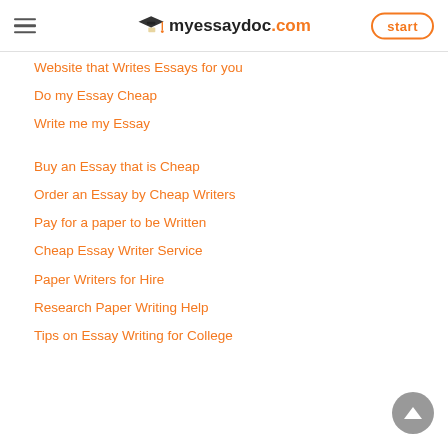myessaydoc.com | start
Website that Writes Essays for you
Do my Essay Cheap
Write me my Essay
Buy an Essay that is Cheap
Order an Essay by Cheap Writers
Pay for a paper to be Written
Cheap Essay Writer Service
Paper Writers for Hire
Research Paper Writing Help
Tips on Essay Writing for College